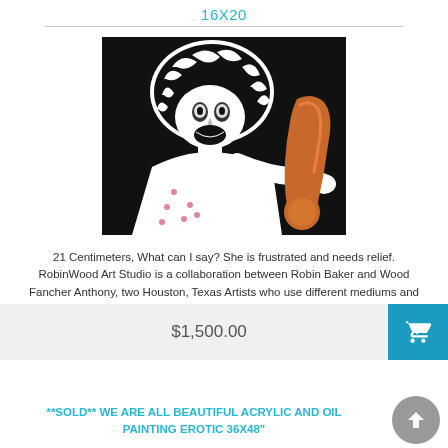16X20
[Figure (photo): Black and white high-contrast artwork of a woman with curly hair holding an orange sculptural object against a dark background]
21 Centimeters, What can I say? She is frustrated and needs relief. RobinWood Art Studio is a collaboration between Robin Baker and Wood Fancher Anthony, two Houston, Texas Artists who use different mediums and techniques in their artwork...
$1,500.00
**SOLD** WE ARE ALL BEAUTIFUL ACRYLIC AND OIL PAINTING EROTIC 36X48"